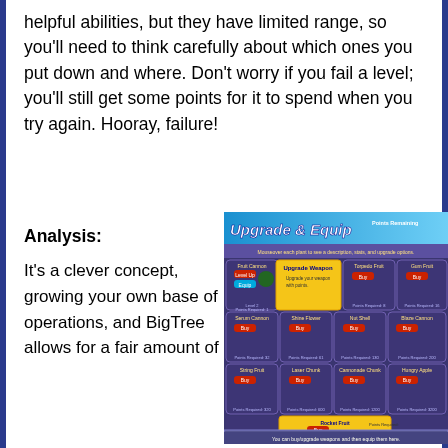helpful abilities, but they have limited range, so you'll need to think carefully about which ones you put down and where. Don't worry if you fail a level; you'll still get some points for it to spend when you try again. Hooray, failure!
Analysis:
It's a clever concept, growing your own base of operations, and BigTree allows for a fair amount of
[Figure (screenshot): Game screenshot showing 'Upgrade & Equip' screen with various fruit/plant weapons available to buy and upgrade, including Fruit Cannon, Torpedo Fruit, Gum Fruit, Serum Cannon, Shine Flower, Nut Shell, Blaze Cannon, String Fruit, Laser Chunk, Cannonade Chunk, Hungry Apple, and Rocket Fruit. Points Remaining displayed. A tooltip shows 'Upgrade Weapon - Upgrade your weapon with points.' Description at bottom reads: 'You can buy/upgrade weapons and then equip them here.']